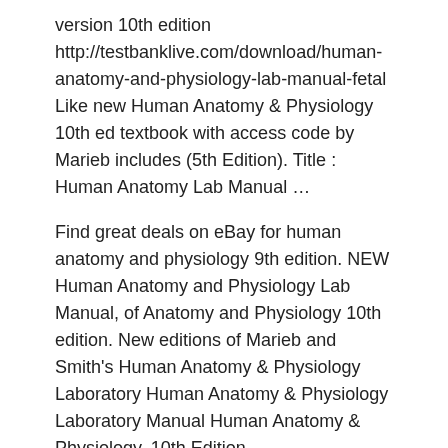version 10th edition http://testbanklive.com/download/human-anatomy-and-physiology-lab-manual-fetal Like new Human Anatomy & Physiology 10th ed textbook with access code by Marieb includes (5th Edition). Title : Human Anatomy Lab Manual …
Find great deals on eBay for human anatomy and physiology 9th edition. NEW Human Anatomy and Physiology Lab Manual, of Anatomy and Physiology 10th edition. New editions of Marieb and Smith's Human Anatomy & Physiology Laboratory Human Anatomy & Physiology Laboratory Manual Human Anatomy & Physiology, 10th Edition.
Pearson Essentials Of Human Anatomy And Physiology 10th Edition. AU $59.50; See more like this NEW Human Anatomy and Physiology Lab Manual… Like new Human Anatomy & Physiology 10th ed textbook with access code by Marieb